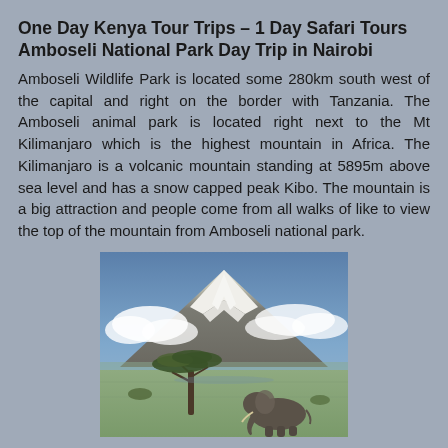One Day Kenya Tour Trips – 1 Day Safari Tours Amboseli National Park Day Trip in Nairobi
Amboseli Wildlife Park is located some 280km south west of the capital and right on the border with Tanzania. The Amboseli animal park is located right next to the Mt Kilimanjaro which is the highest mountain in Africa. The Kilimanjaro is a volcanic mountain standing at 5895m above sea level and has a snow capped peak Kibo. The mountain is a big attraction and people come from all walks of like to view the top of the mountain from Amboseli national park.
[Figure (photo): Photo of Mt Kilimanjaro with snow-capped peak, clouds, acacia tree in foreground, and an elephant at the bottom right, taken from Amboseli National Park.]